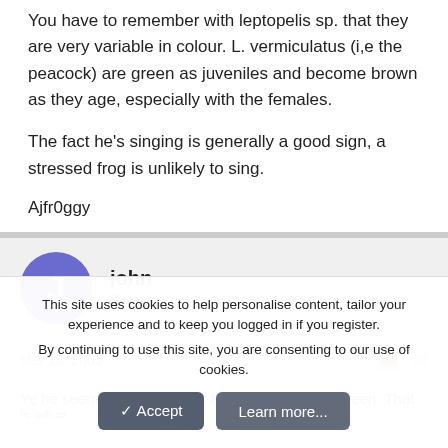You have to remember with leptopelis sp. that they are very variable in colour. L. vermiculatus (i,e the peacock) are green as juveniles and become brown as they age, especially with the females.
The fact he's singing is generally a good sign, a stressed frog is unlikely to sing.
Ajfr0ggy
john
Guest
Mar 15, 2005	#3
Ye he seems to be shy now. He is all brown, no green. That is what
This site uses cookies to help personalise content, tailor your experience and to keep you logged in if you register.
By continuing to use this site, you are consenting to our use of cookies.